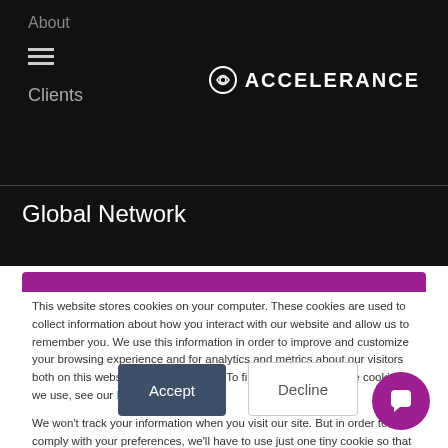About
Clients
ACCELERANCE
Global Network
This website stores cookies on your computer. These cookies are used to collect information about how you interact with our website and allow us to remember you. We use this information in order to improve and customize your browsing experience and for analytics and metrics about our visitors both on this website and other media. To find out more about the cookies we use, see our Privacy Policy
We won't track your information when you visit our site. But in order to comply with your preferences, we'll have to use just one tiny cookie so that you're not asked to make this choice again.
Accept
Decline